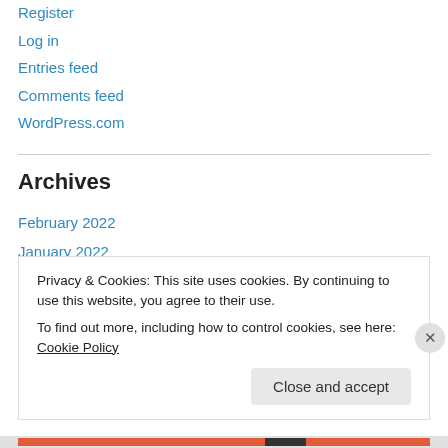Register
Log in
Entries feed
Comments feed
WordPress.com
Archives
February 2022
January 2022
June 2020
May 2020
June 2019
Privacy & Cookies: This site uses cookies. By continuing to use this website, you agree to their use.
To find out more, including how to control cookies, see here: Cookie Policy
Close and accept